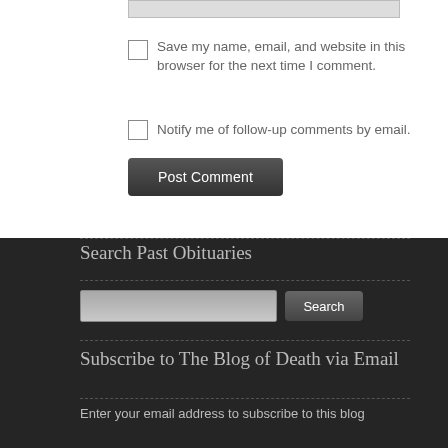Save my name, email, and website in this browser for the next time I comment.
Notify me of follow-up comments by email.
Post Comment
Search Past Obituaries
Search
Subscribe to The Blog of Death via Email
Enter your email address to subscribe to this blog